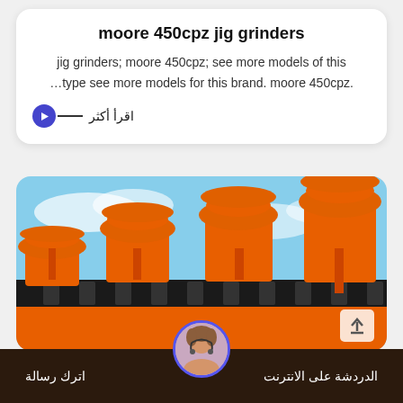moore 450cpz jig grinders
jig grinders; moore 450cpz; see more models of this …type see more models for this brand. moore 450cpz.
اقرأ أكثر
[Figure (photo): Orange industrial jig grinding machines with multiple heads on a conveyor rail against a blue sky background.]
الدردشة على الانترنت
اترك رسالة